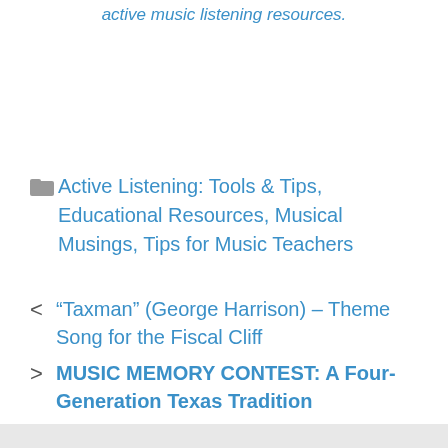active music listening resources.
Active Listening: Tools & Tips, Educational Resources, Musical Musings, Tips for Music Teachers
< “Taxman” (George Harrison) – Theme Song for the Fiscal Cliff
> MUSIC MEMORY CONTEST: A Four-Generation Texas Tradition